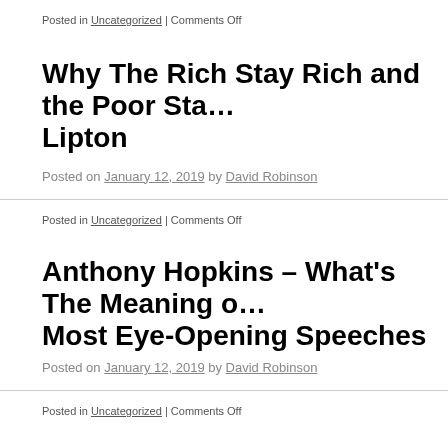Posted in Uncategorized | Comments Off
Why The Rich Stay Rich and the Poor Sta… Lipton
Posted on January 12, 2019 by David Robinson
Posted in Uncategorized | Comments Off
Anthony Hopkins – What's The Meaning o… Most Eye-Opening Speeches
Posted on January 12, 2019 by David Robinson
Posted in Uncategorized | Comments Off